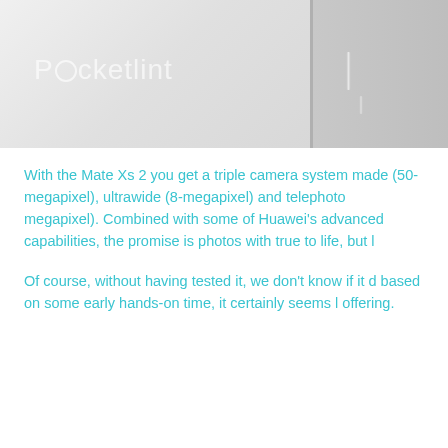[Figure (photo): Close-up photo of a white Huawei Mate Xs 2 device showing the side profile and edge buttons. The Pocketlint watermark is visible in the lower-left area of the photo. The image is split into a main front view and a side/edge view.]
With the Mate Xs 2 you get a triple camera system made (50-megapixel), ultrawide (8-megapixel) and telephoto megapixel). Combined with some of Huawei's advanced capabilities, the promise is photos with true to life, but l
Of course, without having tested it, we don't know if it d based on some early hands-on time, it certainly seems l offering.